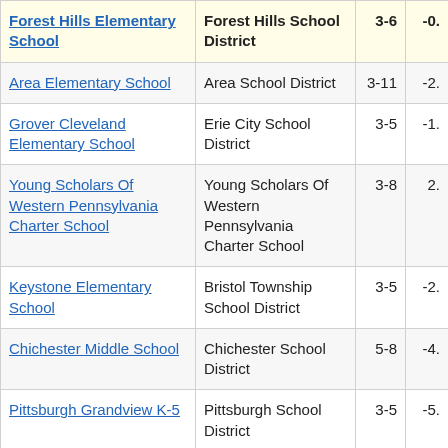| School | District | Grades | Score |
| --- | --- | --- | --- |
| Forest Hills Elementary School | Forest Hills School District | 3-6 | -0. |
| Area Elementary School | Area School District | 3-11 | -2. |
| Grover Cleveland Elementary School | Erie City School District | 3-5 | -1. |
| Young Scholars Of Western Pennsylvania Charter School | Young Scholars Of Western Pennsylvania Charter School | 3-8 | 2. |
| Keystone Elementary School | Bristol Township School District | 3-5 | -2. |
| Chichester Middle School | Chichester School District | 5-8 | -4. |
| Pittsburgh Grandview K-5 | Pittsburgh School District | 3-5 | -5. |
| Penn-Lincoln Elementary School | Altoona Area School District | 3-5 | 0. |